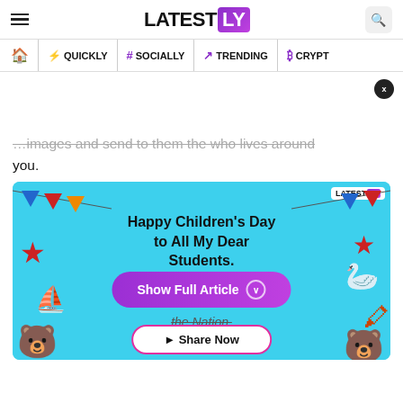LATESTLY
QUICKLY | # SOCIALLY | TRENDING | CRYPTO
…images and send to them the who lives around you.
[Figure (illustration): Children's Day greeting card on a teal background with bunting flags, stars, a teddy bear, origami, crayons and text: Happy Children's Day to All My Dear Students. With a Show Full Article button and Share Now button. Latestly watermark in top right.]